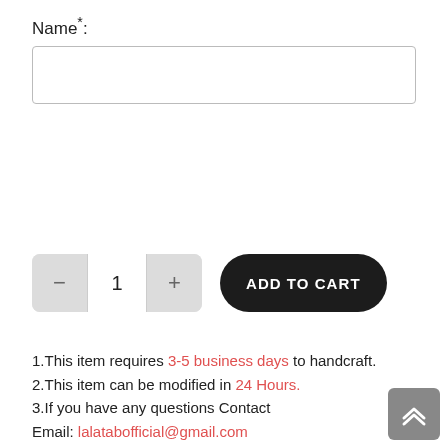Name*:
1 (quantity input)
ADD TO CART
1.This item requires 3-5 business days to handcraft.
2.This item can be modified in 24 Hours.
3.If you have any questions Contact Email: lalatabofficial@gmail.com
4.We Promise: If you receive this item defective or damaged, we will refund to you or reproduce it for free, and will
[Figure (other): Back to top scroll button with double up-arrow chevron]